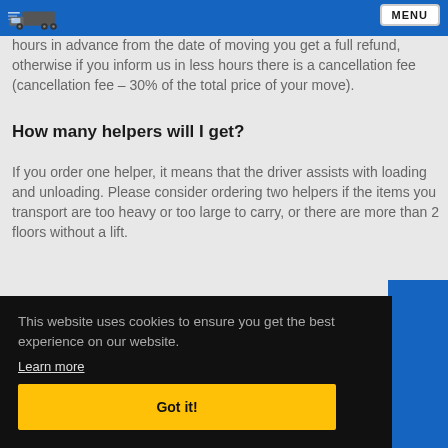MENU
hours in advance from the date of moving you get a full refund, otherwise if you inform us in less hours there is a cancellation fee (cancellation fee – 30% of the total price of your move).
How many helpers will I get?
If you order one helper, it means that the driver assists with loading and unloading. Please consider ordering two helpers if the items you transport are too heavy or too large to carry, or there are more than 2 floors without a lift.
here ants to
e, to
This website uses cookies to ensure you get the best experience on our website.
Learn more
Got it!